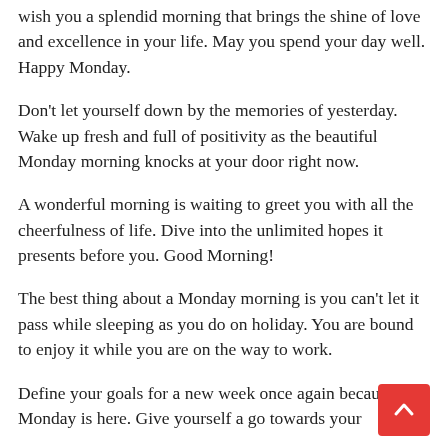wish you a splendid morning that brings the shine of love and excellence in your life. May you spend your day well. Happy Monday.
Don't let yourself down by the memories of yesterday. Wake up fresh and full of positivity as the beautiful Monday morning knocks at your door right now.
A wonderful morning is waiting to greet you with all the cheerfulness of life. Dive into the unlimited hopes it presents before you. Good Morning!
The best thing about a Monday morning is you can't let it pass while sleeping as you do on holiday. You are bound to enjoy it while you are on the way to work.
Define your goals for a new week once again because Monday is here. Give yourself a go towards your